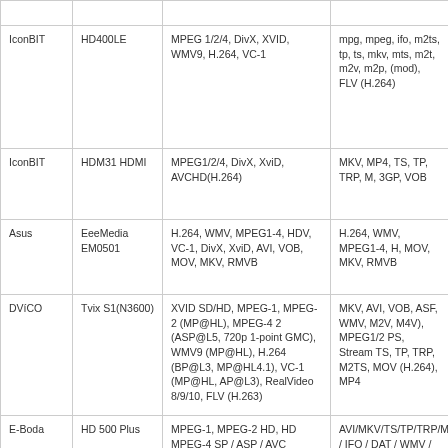| Brand | Model | Video Codecs | File Formats |
| --- | --- | --- | --- |
| IconBIT | HD400LE | MPEG 1/2/4, DivX, XVID, WMV9, H.264, VC-1 | mpg, mpeg, ifo, m2ts, tp, ts, mkv, mts, m2t, m2v, m2p, (mod), FLV (H.264) |
| IconBIT | HDM31 HDMI | MPEG1/2/4, DivX, XviD, AVCHD(H.264) | MKV, MP4, TS, TP, TRP, M, 3GP, VOB |
| Asus | EeeMedia EM0501 | H.264, WMV, MPEG1-4, HDV, VC-1, DivX, XviD, AVI, VOB, MOV, MKV, RMVB | H.264, WMV, MPEG1-4, H, MOV, MKV, RMVB |
| DVíCO | Tvix S1(N3600) | XVID SD/HD, MPEG-1, MPEG-2 (MP@HL), MPEG-4 2 (ASP@L5, 720p 1-point GMC), WMV9 (MP@HL), H.264 (BP@L3, MP@HL4.1), VC-1 (MP@HL, AP@L3), RealVideo 8/9/10, FLV (H.263) | MKV, AVI, VOB, ASF, WMV, M2V, M4V), MPEG1/2 PS, Stream TS, TP, TRP, M2TS, MOV (H.264), MP4 |
| E-Boda | HD 500 Plus | MPEG-1, MPEG-2 HD, HD MPEG-4 SP / ASP / AVC (H.264), WMV9 (VC-1), RealNetworks (RM / RMVB) 8/9/10, up to 720p | AVI/MKV/TS/TP/TRP/M2TS / IFO / DAT / WMV / ASF / |
| HiMedia | HD500B | — | — |